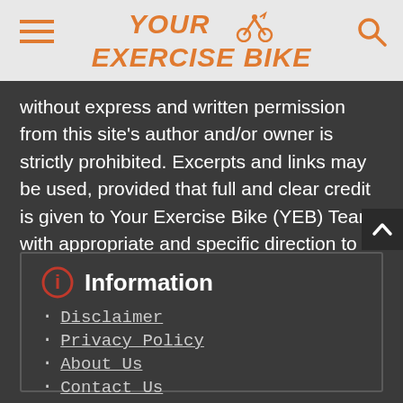YOUR EXERCISE BIKE
without express and written permission from this site's author and/or owner is strictly prohibited. Excerpts and links may be used, provided that full and clear credit is given to Your Exercise Bike (YEB) Team with appropriate and specific direction to the original content.
Information
Disclaimer
Privacy Policy
About Us
Contact Us
Disclosure